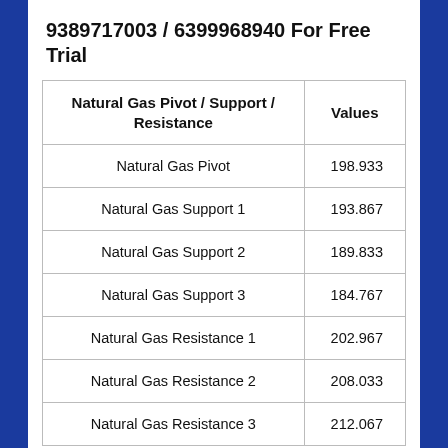9389717003 / 6399968940 For Free Trial
| Natural Gas Pivot / Support / Resistance | Values |
| --- | --- |
| Natural Gas Pivot | 198.933 |
| Natural Gas Support 1 | 193.867 |
| Natural Gas Support 2 | 189.833 |
| Natural Gas Support 3 | 184.767 |
| Natural Gas Resistance 1 | 202.967 |
| Natural Gas Resistance 2 | 208.033 |
| Natural Gas Resistance 3 | 212.067 |